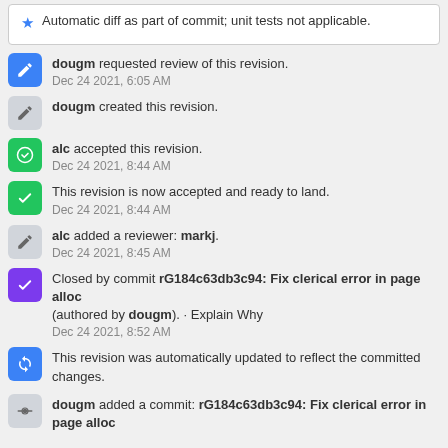Automatic diff as part of commit; unit tests not applicable.
dougm requested review of this revision.
Dec 24 2021, 6:05 AM
dougm created this revision.
alc accepted this revision.
Dec 24 2021, 8:44 AM
This revision is now accepted and ready to land.
Dec 24 2021, 8:44 AM
alc added a reviewer: markj.
Dec 24 2021, 8:45 AM
Closed by commit rG184c63db3c94: Fix clerical error in page alloc (authored by dougm). · Explain Why
Dec 24 2021, 8:52 AM
This revision was automatically updated to reflect the committed changes.
dougm added a commit: rG184c63db3c94: Fix clerical error in page alloc